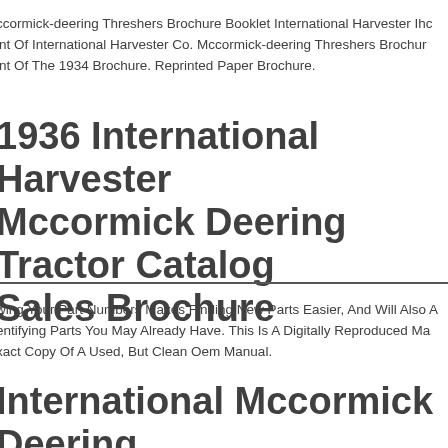ccormick-deering Threshers Brochure Booklet International Harvester Ihc Reprint Of International Harvester Co. Mccormick-deering Threshers Brochure. Reprint Of The 1934 Brochure. Reprinted Paper Brochure.
1936 International Harvester Mccormick Deering Tractor Catalog Sales Brochure
wing Your Part Numbers Makes Finding New Parts Easier, And Will Also Aid In Identifying Parts You May Already Have. This Is A Digitally Reproduced Manual. An Exact Copy Of A Used, But Clean Oem Manual.
International Mccormick Deering Buyers Guide Catalog Farmall A B